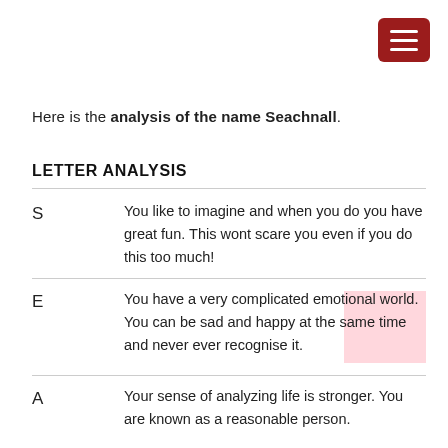[Figure (other): Dark red hamburger menu button icon in top right corner]
Here is the analysis of the name Seachnall.
LETTER ANALYSIS
| Letter | Description |
| --- | --- |
| S | You like to imagine and when you do you have great fun. This wont scare you even if you do this too much! |
| E | You have a very complicated emotional world. You can be sad and happy at the same time and never ever recognise it. |
| A | Your sense of analyzing life is stronger. You are known as a reasonable person. |